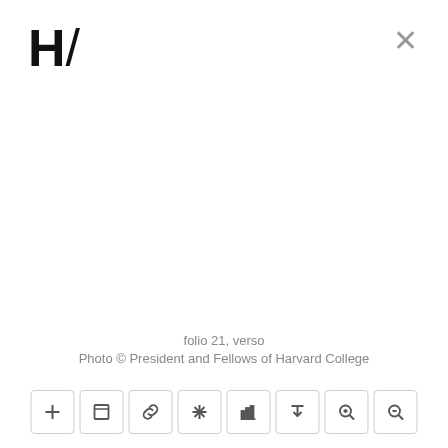[Figure (logo): H/ logo mark in black, bold H followed by a diagonal slash]
[Figure (other): Gray X close button in top right corner]
folio 21, verso
Photo © President and Fellows of Harvard College
[Figure (other): Toolbar with 8 icon buttons: plus, square/frame, link, asterisk/snowflake, bar-chart, download-arrow, zoom-in, zoom-out]